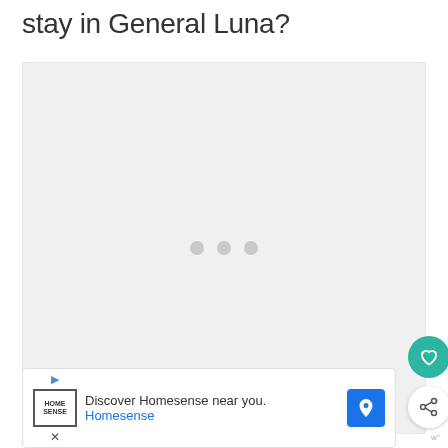stay in General Luna?
[Figure (map): A map container showing a light gray loading placeholder with three gray dots in the center indicating loading state. The map is for General Luna area.]
Discover Homesense near you. Homesense